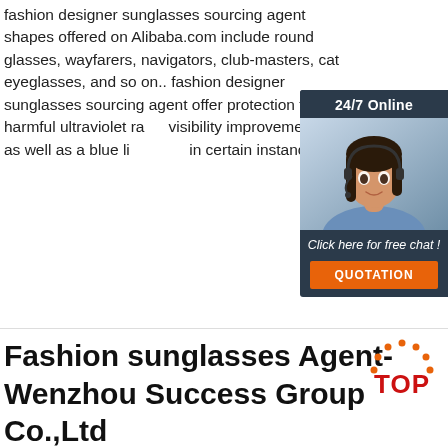fashion designer sunglasses sourcing agent shapes offered on Alibaba.com include round glasses, wayfarers, navigators, club-masters, cat eyeglasses, and so on.. fashion designer sunglasses sourcing agent offer protection from harmful ultraviolet rays, visibility improvements as well as a blue light filter in certain instances..
[Figure (other): 24/7 online chat widget with a woman wearing a headset, dark blue background, 'Click here for free chat!' text and an orange QUOTATION button]
Get Price
Fashion sunglasses Agent- Wenzhou Success Group Co.,Ltd
[Figure (logo): TOP logo with orange dotted arc above red TOP text]